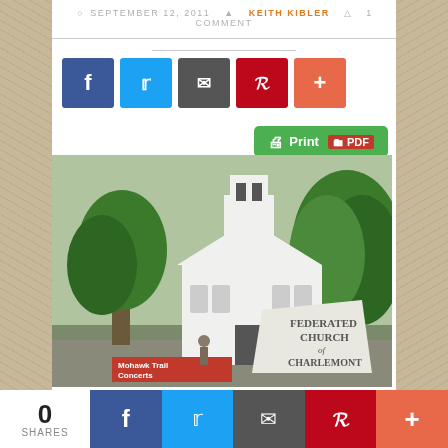SEPTEMBER 12, 2011  KEITH KIBLER  1 COMMENT
[Figure (photo): White New England church building with steeple, sign reads 'Federated Church of Charlemont', surrounded by green trees. Red sign at bottom reads 'Mohawk Trail Concerts'.]